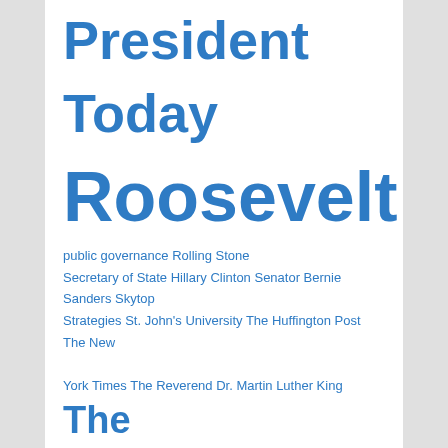President Today Roosevelt public governance Rolling Stone Secretary of State Hillary Clinton Senator Bernie Sanders Skytop Strategies St. John's University The Huffington Post The New York Times The Reverend Dr. Martin Luther King The Washington Post The White House Thomas Edison Thomson Reuters Tim Berners-Lee United Air Lines World Trade Center
FOLLOW US ON
[Figure (logo): Social media icons: Facebook, Twitter, LinkedIn, Google+]
[Figure (logo): RSS Feed icon with text RSS Feed]
Proudly powered by WordPress